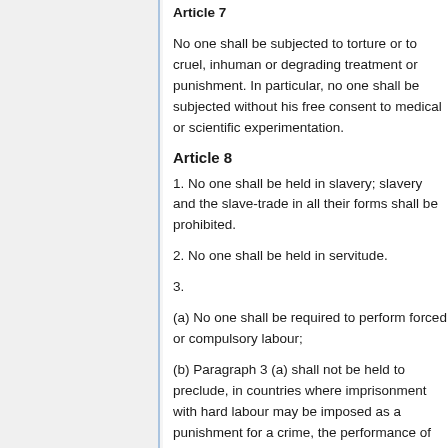No one shall be subjected to torture or to cruel, inhuman or degrading treatment or punishment. In particular, no one shall be subjected without his free consent to medical or scientific experimentation.
Article 8
1. No one shall be held in slavery; slavery and the slave-trade in all their forms shall be prohibited.
2. No one shall be held in servitude.
3.
(a) No one shall be required to perform forced or compulsory labour;
(b) Paragraph 3 (a) shall not be held to preclude, in countries where imprisonment with hard labour may be imposed as a punishment for a crime, the performance of hard labour in